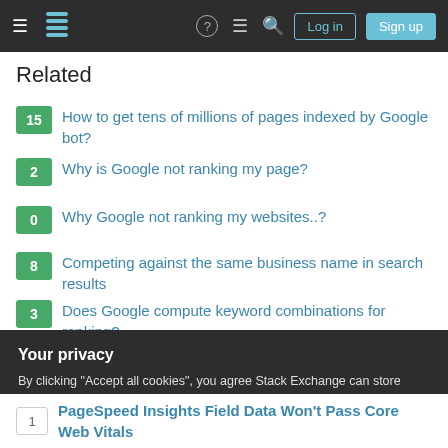Stack Exchange navigation bar with Log in and Sign up buttons
Related
15 — How to get tens of millions of pages indexed by Google bot?
2 — Why is Google not ranking my page?
0 — Why Google not ranking my websites..?
8 — Competing against the same business name in search results
3 — Does Google compute keyword combinations for ranking?
9 — Google excluding site for queries for its exact name
Your privacy
By clicking "Accept all cookies", you agree Stack Exchange can store cookies on your device and disclose information in accordance with our Cookie Policy.
1 — PageSpeed Insights Field Data Won't Pass Core Web Vitals